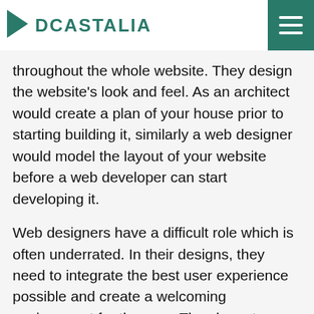DCASTALIA
throughout the whole website. They design the website's look and feel. As an architect would create a plan of your house prior to starting building it, similarly a web designer would model the layout of your website before a web developer can start developing it.
Web designers have a difficult role which is often underrated. In their designs, they need to integrate the best user experience possible and create a welcoming environment for the user. They have to change an idea from writing, into a usable design and interface that catches the user's attention. A website cannot be described as great if a proper design strategy wasn't applied in the early stages of the project. Nowadays, web designers are rated at the same level as web developers, as without a great user experience and design, the development cannot be truly appreciated by the user.